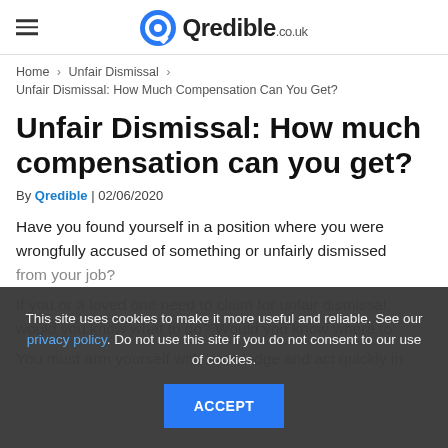Qredible.co.uk
Home › Unfair Dismissal ›
Unfair Dismissal: How Much Compensation Can You Get?
Unfair Dismissal: How much compensation can you get?
By Qredible | 02/06/2020
Have you found yourself in a position where you were wrongfully accused of something or unfairly dismissed from your job?
If you or a loved one need to claim for unfair dismissal, would you know what to do? Would you know where to
You must arm yourself with knowledge and act quickly in
This site uses cookies to make it more useful and reliable. See our privacy policy. Do not use this site if you do not consent to our use of cookies.
ACCEPT